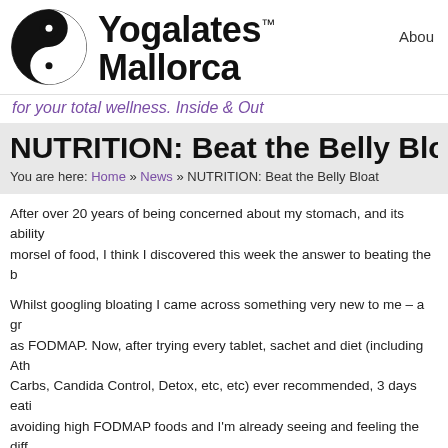[Figure (logo): Yogalates Mallorca logo with yin-yang symbol and brand name]
for your total wellness. Inside & Out
Abou
NUTRITION: Beat the Belly Bloa
You are here: Home » News » NUTRITION: Beat the Belly Bloat
After over 20 years of being concerned about my stomach, and its ability morsel of food, I think I discovered this week the answer to beating the b
Whilst googling bloating I came across something very new to me – a gr as FODMAP. Now, after trying every tablet, sachet and diet (including Ath Carbs, Candida Control, Detox, etc, etc) ever recommended, 3 days eati avoiding high FODMAP foods and I'm already seeing and feeling the diff
Discovered in Australia and originally recommended as a novel approach Bowel Syndrome, it has now been heralded as a prevention of bloating a other digestive ailments. FODMAPs describes a collection of short-chain